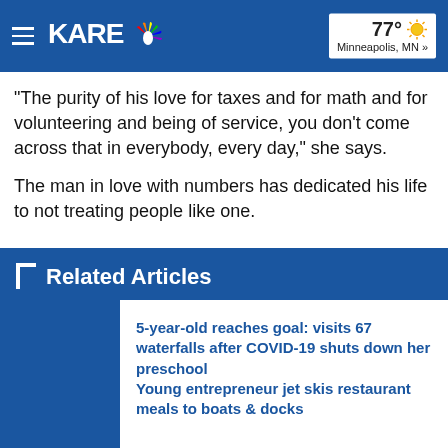KARE 11 | 77° Minneapolis, MN »
“The purity of his love for taxes and for math and for volunteering and being of service, you don’t come across that in everybody, every day,” she says.
The man in love with numbers has dedicated his life to not treating people like one.
Related Articles
5-year-old reaches goal: visits 67 waterfalls after COVID-19 shuts down her preschool
Young entrepreneur jet skis restaurant meals to boats & docks